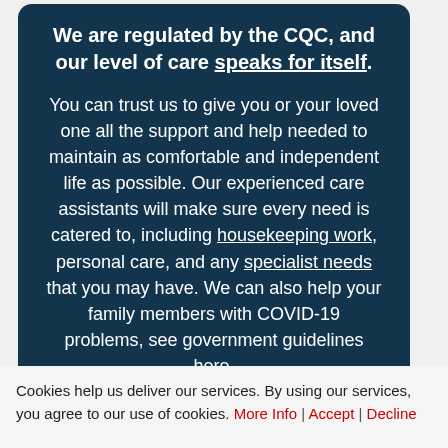We are regulated by the CQC, and our level of care speaks for itself.
You can trust us to give you or your loved one all the support and help needed to maintain as comfortable and independent life as possible. Our experienced care assistants will make sure every need is catered to, including housekeeping work, personal care, and any specialist needs that you may have. We can also help your family members with COVID-19 problems, see government guidelines here.
Cookies help us deliver our services. By using our services, you agree to our use of cookies. More Info | Accept | Decline